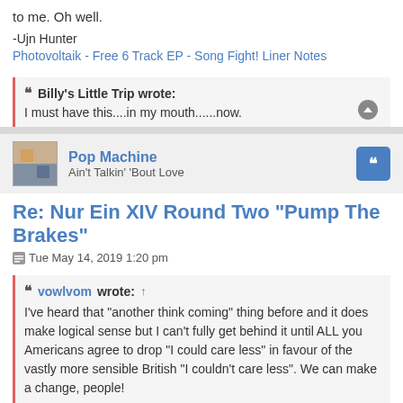to me. Oh well.
-Ujn Hunter
Photovoltaik - Free 6 Track EP - Song Fight! Liner Notes
Billy's Little Trip wrote:
I must have this....in my mouth......now.
Pop Machine
Ain't Talkin' 'Bout Love
Re: Nur Ein XIV Round Two "Pump The Brakes"
Tue May 14, 2019 1:20 pm
vowlvom wrote: ↑
I've heard that "another think coming" thing before and it does make logical sense but I can't fully get behind it until ALL you Americans agree to drop "I could care less" in favour of the vastly more sensible British "I couldn't care less". We can make a change, people!
I'm down with that, you're absolutely right that we in the colonies have that one completely bass-ackwards: it should indeed be "COULDN'T care less". I'm doing everything I can over here, people!
But, to be fair, Brits need to drop the "u" in "favour" and other "-or" words